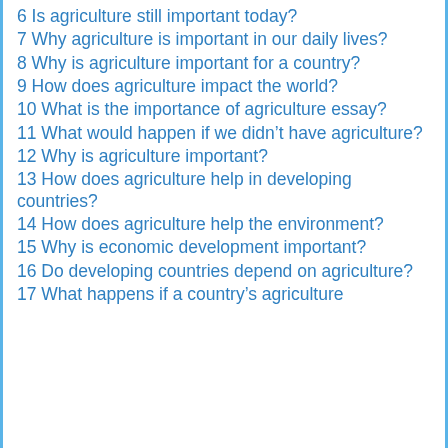6 Is agriculture still important today?
7 Why agriculture is important in our daily lives?
8 Why is agriculture important for a country?
9 How does agriculture impact the world?
10 What is the importance of agriculture essay?
11 What would happen if we didn't have agriculture?
12 Why is agriculture important?
13 How does agriculture help in developing countries?
14 How does agriculture help the environment?
15 Why is economic development important?
16 Do developing countries depend on agriculture?
17 What happens if a country's agriculture